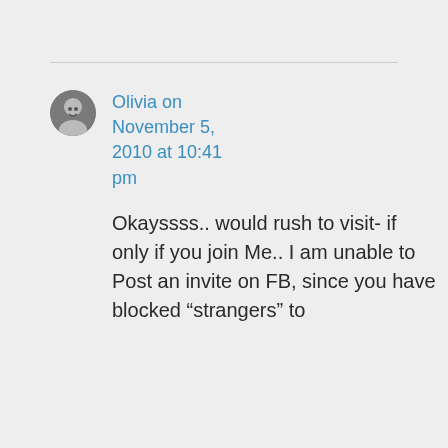Olivia on November 5, 2010 at 10:41 pm
Okayssss.. would rush to visit- if only if you join Me.. I am unable to Post an invite on FB, since you have blocked “strangers” to